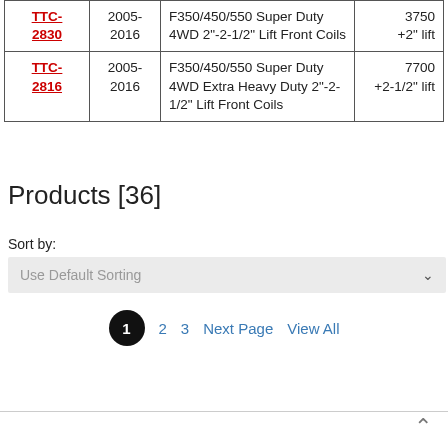| Part # | Year | Description | Load Rating |
| --- | --- | --- | --- |
| TTC-2830 | 2005-2016 | F350/450/550 Super Duty 4WD 2"-2-1/2" Lift Front Coils | 3750
+2" lift |
| TTC-2816 | 2005-2016 | F350/450/550 Super Duty 4WD Extra Heavy Duty 2"-2-1/2" Lift Front Coils | 7700
+2-1/2" lift |
Products [36]
Sort by:
Use Default Sorting
1   2   3   Next Page   View All